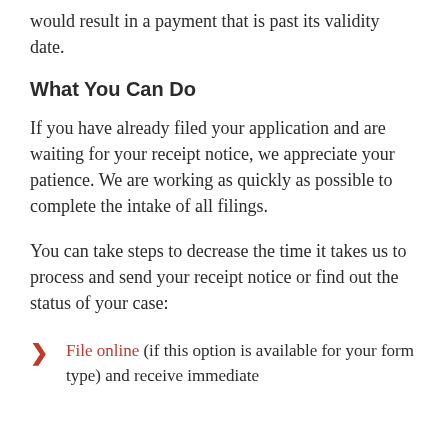We do not anticipate any receipting delays that would result in a payment that is past its validity date.
What You Can Do
If you have already filed your application and are waiting for your receipt notice, we appreciate your patience. We are working as quickly as possible to complete the intake of all filings.
You can take steps to decrease the time it takes us to process and send your receipt notice or find out the status of your case:
File online (if this option is available for your form type) and receive immediate